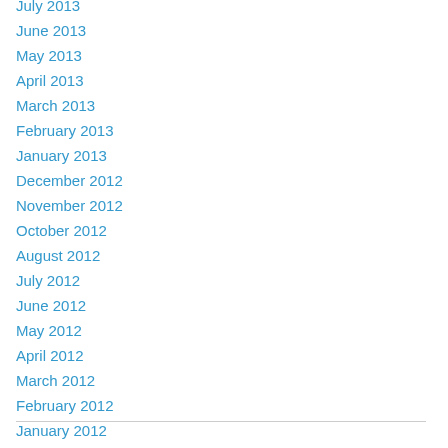July 2013
June 2013
May 2013
April 2013
March 2013
February 2013
January 2013
December 2012
November 2012
October 2012
August 2012
July 2012
June 2012
May 2012
April 2012
March 2012
February 2012
January 2012